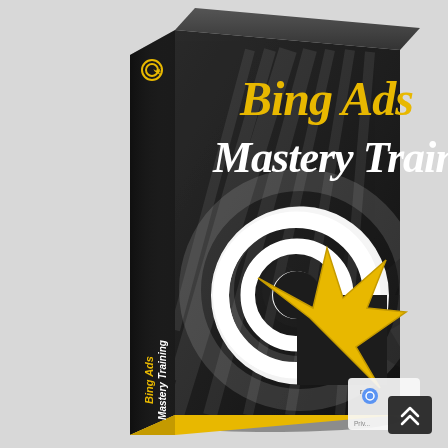[Figure (illustration): 3D product box with dark background showing 'Bing Ads Mastery Training' text in gold/yellow and white italic fonts, with a white target/cursor icon and yellow arrow cursor logo on the front face. The spine also shows the same title text vertically. Bottom of the box has a yellow/gold strip. A small reCAPTCHA-style badge and a dark scroll-to-top button appear in the bottom-right corner.]